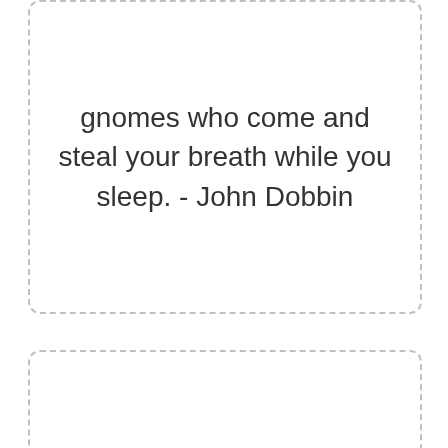gnomes who come and steal your breath while you sleep. - John Dobbin
They kind of look like evil lawn gnomes. - Cassandra Clare